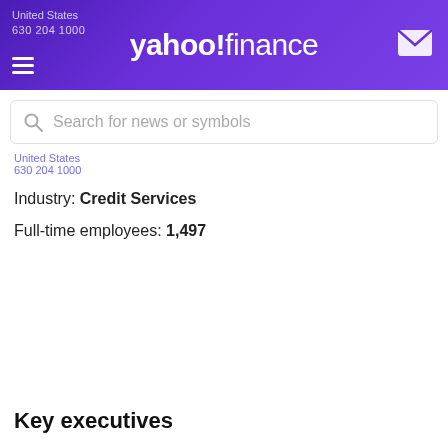[Figure (logo): Yahoo Finance header bar with logo, hamburger menu, and mail icon]
Search for news or symbols
United States
630 204 1000
Industry: Credit Services
Full-time employees: 1,497
Key executives